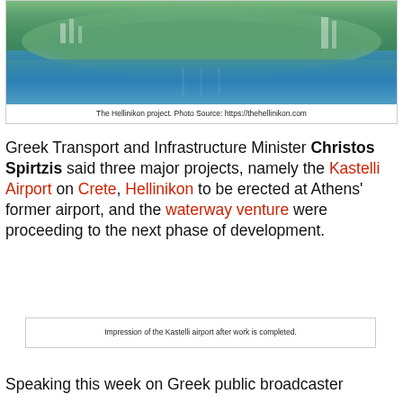[Figure (photo): Aerial view of the Hellinikon project showing a coastal development with green areas and marina]
The Hellinikon project. Photo Source: https://thehellinikon.com
Greek Transport and Infrastructure Minister Christos Spirtzis said three major projects, namely the Kastelli Airport on Crete, Hellinikon to be erected at Athens’ former airport, and the waterway venture were proceeding to the next phase of development.
[Figure (photo): Impression of the Kastelli airport after work is completed (placeholder box shown)]
Impression of the Kastelli airport after work is completed.
Speaking this week on Greek public broadcaster